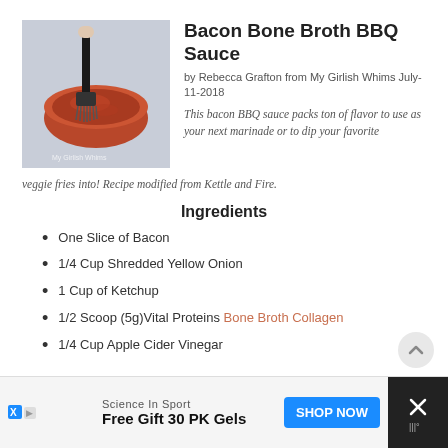[Figure (photo): Photo of BBQ sauce in a bowl with a basting brush being dipped in, watermark reading My Girlish Whims]
Bacon Bone Broth BBQ Sauce
by Rebecca Grafton from My Girlish Whims July-11-2018
This bacon BBQ sauce packs ton of flavor to use as your next marinade or to dip your favorite veggie fries into! Recipe modified from Kettle and Fire.
Ingredients
One Slice of Bacon
1/4 Cup Shredded Yellow Onion
1 Cup of Ketchup
1/2 Scoop (5g)Vital Proteins Bone Broth Collagen
1/4 Cup Apple Cider Vinegar
Science In Sport
Free Gift 30 PK Gels